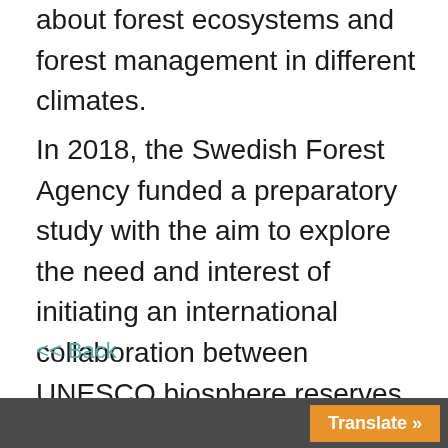about forest ecosystems and forest management in different climates.
In 2018, the Swedish Forest Agency funded a preparatory study with the aim to explore the need and interest of initiating an international collaboration between UNESCO biosphere reserves to address climate change adaptation in forest landscapes.
<< Back
Translate »